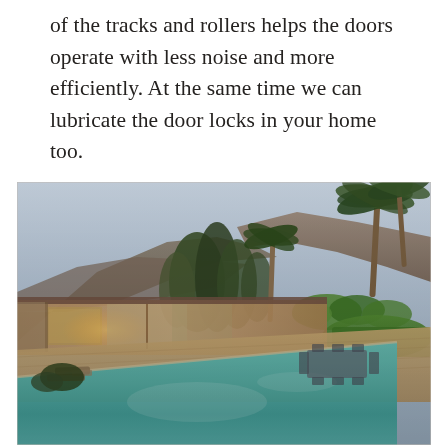of the tracks and rollers helps the doors operate with less noise and more efficiently. At the same time we can lubricate the door locks in your home too.
[Figure (photo): Exterior photograph of a mid-century modern home at dusk, featuring a long rectangular swimming pool in the foreground, stone-faced walls, large glass sliding doors, palm trees, outdoor dining furniture, lush green lawn, and rugged mountains in the background under a twilight sky.]